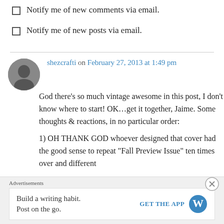Notify me of new comments via email.
Notify me of new posts via email.
shezcrafti on February 27, 2013 at 1:49 pm
God there's so much vintage awesome in this post, I don't know where to start! OK…get it together, Jaime. Some thoughts & reactions, in no particular order:
1) OH THANK GOD whoever designed that cover had the good sense to repeat "Fall Preview Issue" ten times over and different
Advertisements
Build a writing habit.
Post on the go.
GET THE APP